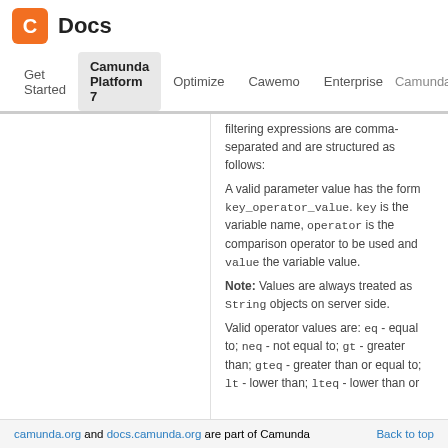C Docs | Get Started | Camunda Platform 7 | Optimize | Cawemo | Enterprise | Camunda.org
filtering expressions are comma-separated and are structured as follows:
A valid parameter value has the form key_operator_value. key is the variable name, operator is the comparison operator to be used and value the variable value.
Note: Values are always treated as String objects on server side.
Valid operator values are: eq - equal to; neq - not equal to; gt - greater than; gteq - greater than or equal to; lt - lower than; lteq - lower than or
camunda.org and docs.camunda.org are part of Camunda   Back to top